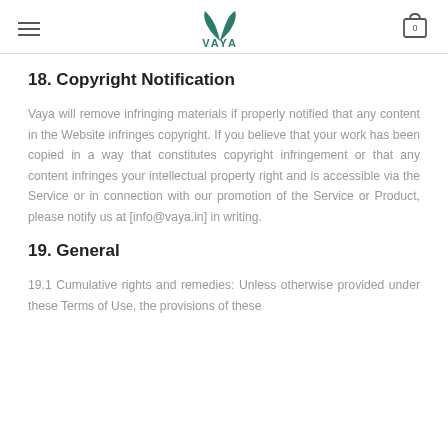VAYA
18. Copyright Notification
Vaya will remove infringing materials if properly notified that any content in the Website infringes copyright. If you believe that your work has been copied in a way that constitutes copyright infringement or that any content infringes your intellectual property right and is accessible via the Service or in connection with our promotion of the Service or Product, please notify us at [info@vaya.in] in writing.
19. General
19.1 Cumulative rights and remedies: Unless otherwise provided under these Terms of Use, the provisions of these